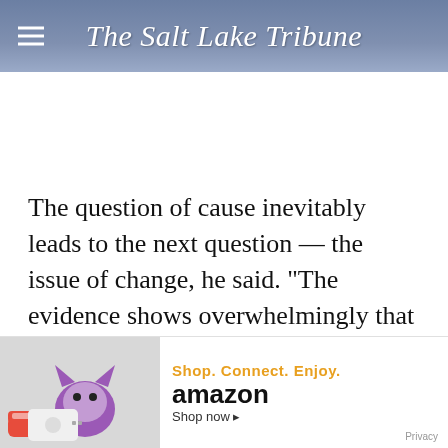The Salt Lake Tribune
The question of cause inevitably leads to the next question — the issue of change, he said. "The evidence shows overwhelmingly that orientation is not amenable to change."
During Sunday's wide-ranging address, Uchtdorf did not mentio... or anythi...
[Figure (screenshot): Amazon advertisement banner: illustrated purple cat character, gaming console, sneakers against gray background. Text: Shop. Connect. Enjoy. Shop now ▸ amazon (with smile logo). Privacy link bottom right.]